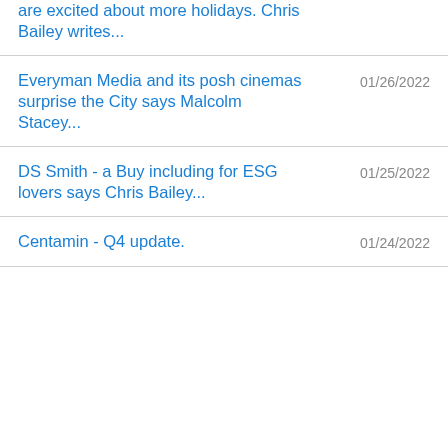are excited about more holidays. Chris Bailey writes...
Everyman Media and its posh cinemas surprise the City says Malcolm Stacey...
DS Smith - a Buy including for ESG lovers says Chris Bailey...
Centamin - Q4 update.